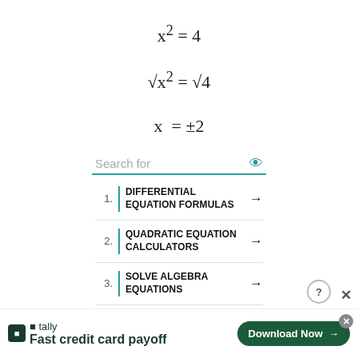1. DIFFERENTIAL EQUATION FORMULAS →
2. QUADRATIC EQUATION CALCULATORS →
3. SOLVE ALGEBRA EQUATIONS →
4. ALGEBRA QUADRATIC →
[Figure (other): Tally app advertisement banner: tally logo, 'Fast credit card payoff', Download Now button]